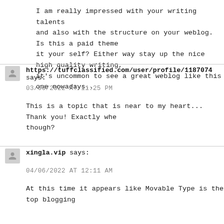I am really impressed with your writing talents and also with the structure on your weblog. Is this a paid theme it your self? Either way stay up the nice high quality writing, it's uncommon to see a great weblog like this one nowadays..
https://tuffclassified.com/user/profile/1187074 says:
03/06/2022 AT 11:25 PM
This is a topic that is near to my heart... Thank you! Exactly whe though?
xingla.vip says:
04/06/2022 AT 12:11 AM
At this time it appears like Movable Type is the top blogging